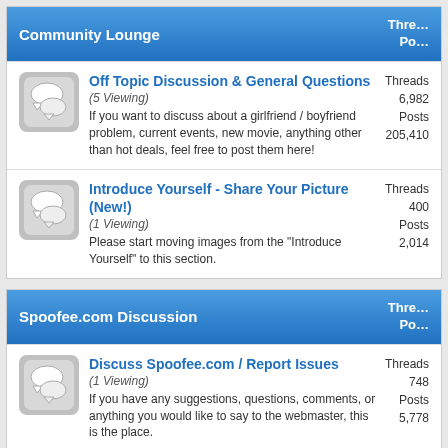Community Lounge | Threads Posts
Off Topic Discussion & General Questions (5 Viewing) If you want to discuss about a girlfriend / boyfriend problem, current events, new movie, anything other than hot deals, feel free to post them here! Threads 6,982 Posts 205,410
Introduce Yourself - Share Your Picture (New!) (1 Viewing) Please start moving images from the "Introduce Yourself" to this section. Threads 400 Posts 2,014
Spoofee.com Discussion | Threads Posts
Discuss Spoofee.com / Report Issues (1 Viewing) If you have any suggestions, questions, comments, or anything you would like to say to the webmaster, this is the place. Threads 748 Posts 5,778
Mark Forums Read | View Forum Leaders
What's Going On?
Currently Active Users